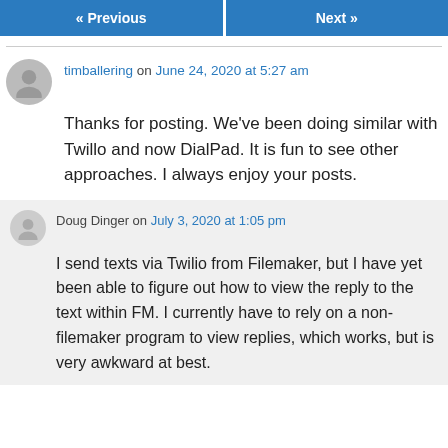« Previous   Next »
timballering on June 24, 2020 at 5:27 am
Thanks for posting. We've been doing similar with Twillo and now DialPad. It is fun to see other approaches. I always enjoy your posts.
Doug Dinger on July 3, 2020 at 1:05 pm
I send texts via Twilio from Filemaker, but I have yet been able to figure out how to view the reply to the text within FM. I currently have to rely on a non-filemaker program to view replies, which works, but is very awkward at best.